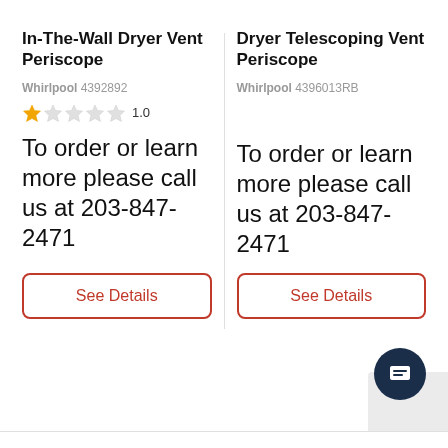In-The-Wall Dryer Vent Periscope
Whirlpool 4392892
1.0
To order or learn more please call us at 203-847-2471
See Details
Dryer Telescoping Vent Periscope
Whirlpool 4396013RB
To order or learn more please call us at 203-847-2471
See Details